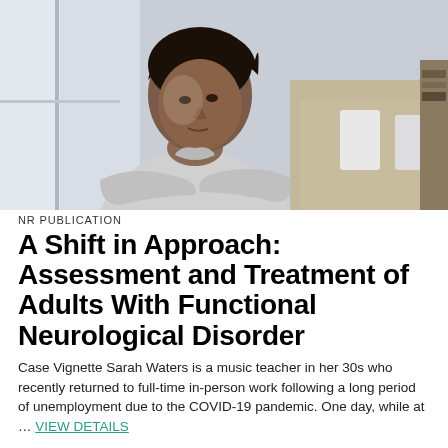[Figure (photo): A woman in her 30s with arms crossed, wearing a light grey cardigan, looking pensively to the side near a window. Blurred interior background with furniture.]
NR PUBLICATION
A Shift in Approach: Assessment and Treatment of Adults With Functional Neurological Disorder
Case Vignette Sarah Waters is a music teacher in her 30s who recently returned to full-time in-person work following a long period of unemployment due to the COVID-19 pandemic. One day, while at … VIEW DETAILS